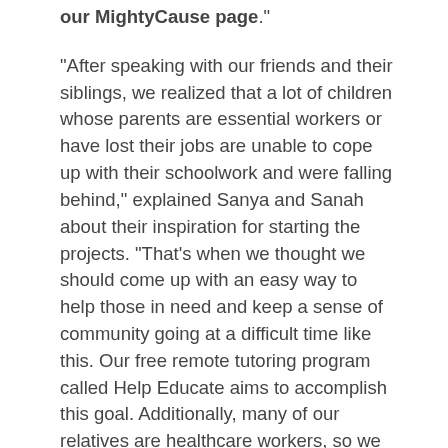our MightyCause page.
"After speaking with our friends and their siblings, we realized that a lot of children whose parents are essential workers or have lost their jobs are unable to cope up with their schoolwork and were falling behind," explained Sanya and Sanah about their inspiration for starting the projects. "That's when we thought we should come up with an easy way to help those in need and keep a sense of community going at a difficult time like this. Our free remote tutoring program called Help Educate aims to accomplish this goal. Additionally, many of our relatives are healthcare workers, so we have seen how many of them are putting their own lives at risk while working long hours to help others. The COVID pandemic is taking a mental and physical toll on healthcare workers, and by doing our part in spreading positivity and supporting local businesses we are currently collecting money to provide fresh and delicious meals to hospitals in the area. So far we have raised enough money to provide 280 meals, and we are so grateful to everyone who has contributed."
When asked which of their two initiatives are they more busy with, the young ladies said, "We have had a